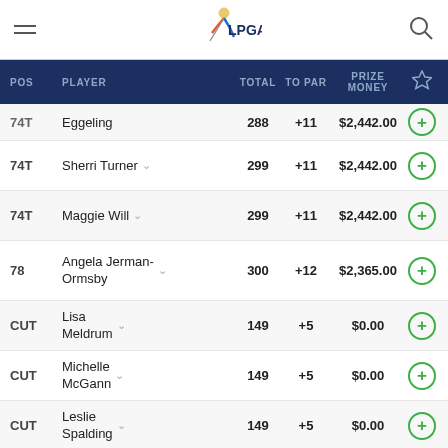LPGA leaderboard navigation header
| POS | PLAYER | TOTAL | TO PAR | PRIZE MONEY |
| --- | --- | --- | --- | --- |
| 74T | Eggeling | 288 | +11 | $2,442.00 |
| 74T | Sherri Turner | 299 | +11 | $2,442.00 |
| 74T | Maggie Will | 299 | +11 | $2,442.00 |
| 78 | Angela Jerman-Ormsby | 300 | +12 | $2,365.00 |
| CUT | Lisa Meldrum | 149 | +5 | $0.00 |
| CUT | Michelle McGann | 149 | +5 | $0.00 |
| CUT | Leslie Spalding | 149 | +5 | $0.00 |
| CUT | Anna Acker-Macosko | 149 | +5 | $0.00 |
TOP STORIES